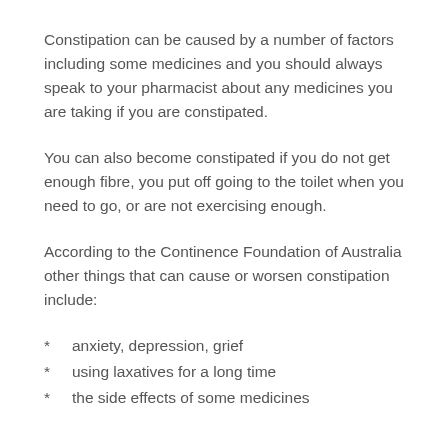Constipation can be caused by a number of factors including some medicines and you should always speak to your pharmacist about any medicines you are taking if you are constipated.
You can also become constipated if you do not get enough fibre, you put off going to the toilet when you need to go, or are not exercising enough.
According to the Continence Foundation of Australia other things that can cause or worsen constipation include:
anxiety, depression, grief
using laxatives for a long time
the side effects of some medicines